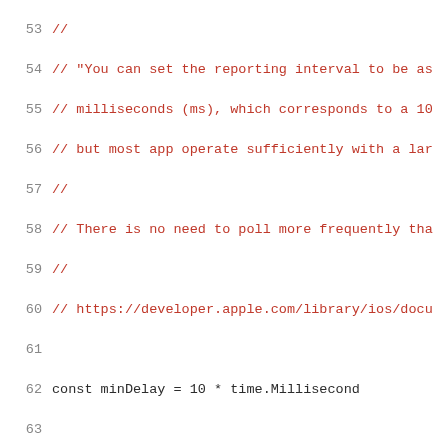Source code listing, lines 53-74, showing Go code with comments and function definition for sensor enable functionality.